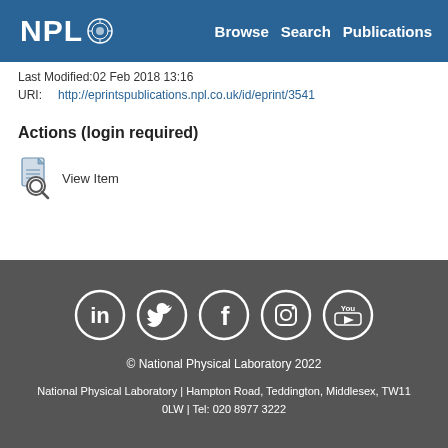NPL | Browse  Search  Publications
Last Modified:02 Feb 2018 13:16
URI:   http://eprintspublications.npl.co.uk/id/eprint/3541
Actions (login required)
View Item
© National Physical Laboratory 2022
National Physical Laboratory | Hampton Road, Teddington, Middlesex, TW11 0LW | Tel: 020 8977 3222